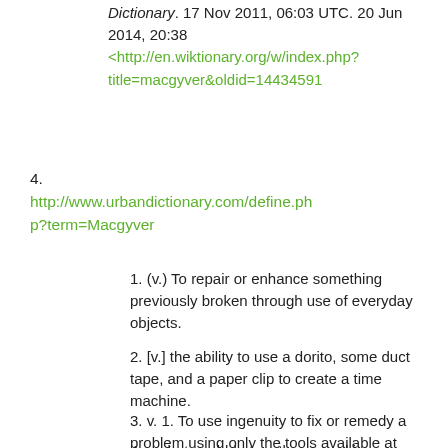Dictionary. 17 Nov 2011, 06:03 UTC. 20 Jun 2014, 20:38 <http://en.wiktionary.org/w/index.php?title=macgyver&oldid=14434591
4. http://www.urbandictionary.com/define.php?term=Macgyver
1. (v.) To repair or enhance something previously broken through use of everyday objects.
2. [v.] the ability to use a dorito, some duct tape, and a paper clip to create a time machine.
3. v. 1. To use ingenuity to fix or remedy a problem using only the tools available at hand. 2. To jury-rig
4. verb. to cobble together a working